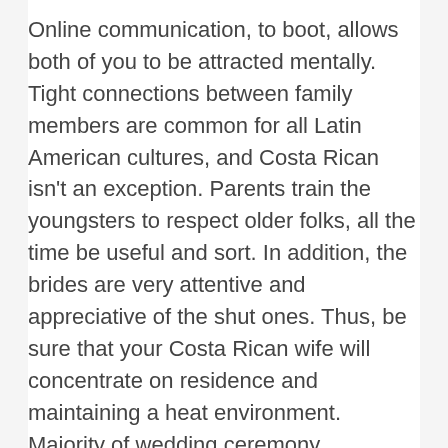Online communication, to boot, allows both of you to be attracted mentally. Tight connections between family members are common for all Latin American cultures, and Costa Rican isn't an exception. Parents train the youngsters to respect older folks, all the time be useful and sort. In addition, the brides are very attentive and appreciative of the shut ones. Thus, be sure that your Costa Rican wife will concentrate on residence and maintaining a heat environment. Majority of wedding ceremony ceremonies in Costa Rica are officiated in Churches.
It's extremely comfortable to be round lovely ladies in Costa Rica. They are beautiful; just try their pictures. They are hot, usually slim, tanned, with beautiful hair. These women are very charming, and you are feeling total cozy